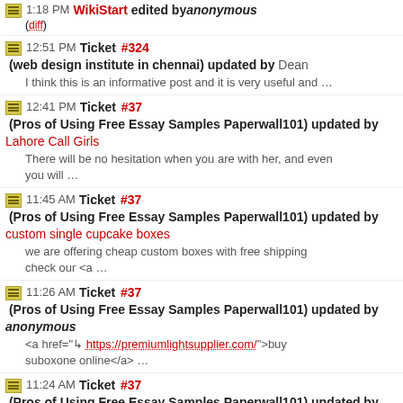1:18 PM WikiStart edited by anonymous (diff)
12:51 PM Ticket #324 (web design institute in chennai) updated by Dean
I think this is an informative post and it is very useful and …
12:41 PM Ticket #37 (Pros of Using Free Essay Samples Paperwall101) updated by Lahore Call Girls
There will be no hesitation when you are with her, and even you will …
11:45 AM Ticket #37 (Pros of Using Free Essay Samples Paperwall101) updated by custom single cupcake boxes
we are offering cheap custom boxes with free shipping check our <a …
11:26 AM Ticket #37 (Pros of Using Free Essay Samples Paperwall101) updated by anonymous
<a href="↳ https://premiumlightsupplier.com/">buy suboxone online</a> …
11:24 AM Ticket #37 (Pros of Using Free Essay Samples Paperwall101) updated by anonymous